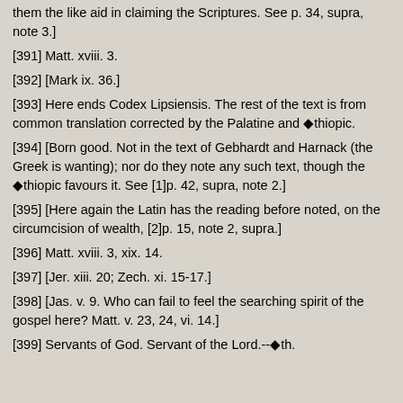them the like aid in claiming the Scriptures. See p. 34, supra, note 3.]
[391] Matt. xviii. 3.
[392] [Mark ix. 36.]
[393] Here ends Codex Lipsiensis. The rest of the text is from common translation corrected by the Palatine and ◆thiopic.
[394] [Born good. Not in the text of Gebhardt and Harnack (the Greek is wanting); nor do they note any such text, though the ◆thiopic favours it. See [1]p. 42, supra, note 2.]
[395] [Here again the Latin has the reading before noted, on the circumcision of wealth, [2]p. 15, note 2, supra.]
[396] Matt. xviii. 3, xix. 14.
[397] [Jer. xiii. 20; Zech. xi. 15-17.]
[398] [Jas. v. 9. Who can fail to feel the searching spirit of the gospel here? Matt. v. 23, 24, vi. 14.]
[399] Servants of God. Servant of the Lord.--◆th.